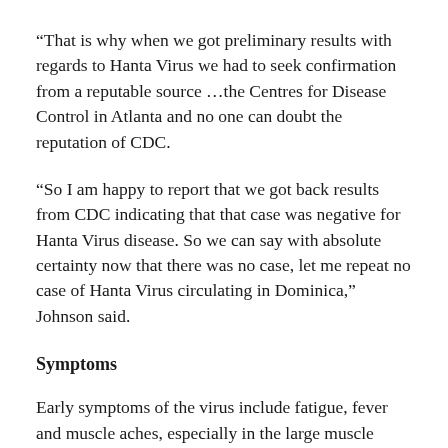“That is why when we got preliminary results with regards to Hanta Virus we had to seek confirmation from a reputable source …the Centres for Disease Control in Atlanta and no one can doubt the reputation of CDC.
“So I am happy to report that we got back results from CDC indicating that that case was negative for Hanta Virus disease. So we can say with absolute certainty now that there was no case, let me repeat no case of Hanta Virus circulating in Dominica,” Johnson said.
Symptoms
Early symptoms of the virus include fatigue, fever and muscle aches, especially in the large muscle groups—thighs, hips, back, and sometimes shoulders. These symptoms are universal. There may also be headaches, dizziness, chills, and abdominal problems, such as nausea, vomiting, diarrhoea, and abdominal